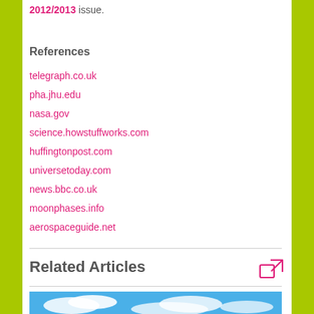2012/2013 issue.
References
telegraph.co.uk
pha.jhu.edu
nasa.gov
science.howstuffworks.com
huffingtonpost.com
universetoday.com
news.bbc.co.uk
moonphases.info
aerospaceguide.net
Related Articles
[Figure (photo): Blue sky with clouds]